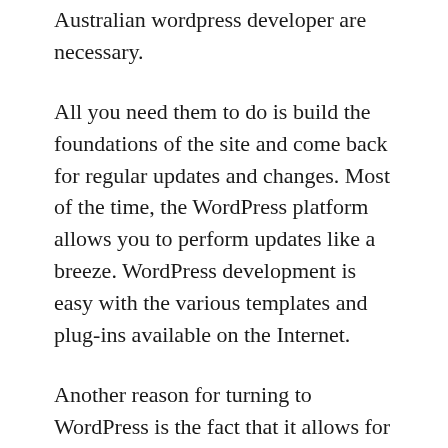Australian wordpress developer are necessary.
All you need them to do is build the foundations of the site and come back for regular updates and changes. Most of the time, the WordPress platform allows you to perform updates like a breeze. WordPress development is easy with the various templates and plug-ins available on the Internet.
Another reason for turning to WordPress is the fact that it allows for easy payments. As an e-commerce site, you'll need to be able to accept payments. Normally, this would be difficult to set-up. However, with Woocommerce, a WordPress plug-in, this is easy.
The plug-in turns any site into an e-commerce portal. With the developer of Woocommerce actively